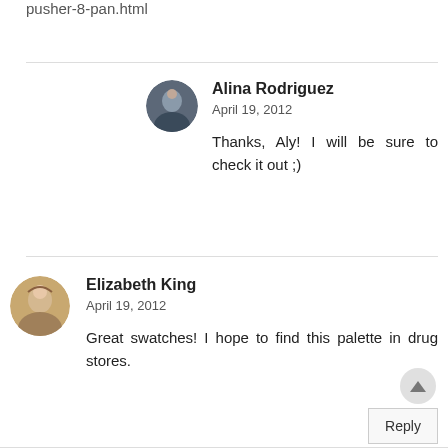pusher-8-pan.html
Alina Rodriguez
April 19, 2012
Thanks, Aly! I will be sure to check it out ;)
Elizabeth King
April 19, 2012
Great swatches! I hope to find this palette in drug stores.